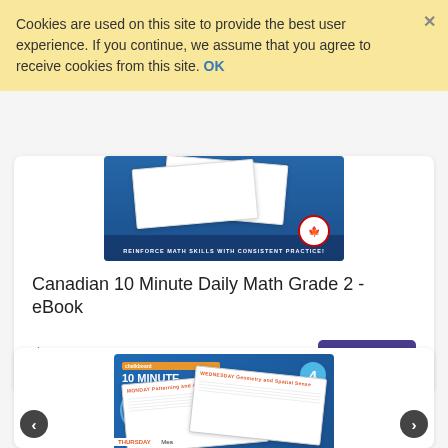Cookies are used on this site to provide the best user experience. If you continue, we assume that you agree to receive cookies from this site. OK
[Figure (photo): Book cover image for Canadian 10 Minute Daily Math Grade 2 eBook with worksheets on blue background]
Canadian 10 Minute Daily Math Grade 2 - eBook
$15.99
DIGITAL
[Figure (photo): Book cover for 10 Minute Daily Math Grade 4 Super Skills Booster with worksheets showing Monday and Wednesday exercises]